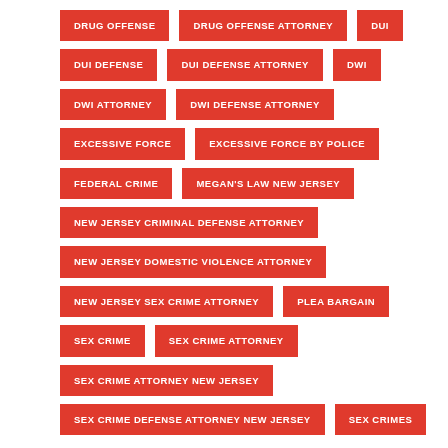DRUG OFFENSE
DRUG OFFENSE ATTORNEY
DUI
DUI DEFENSE
DUI DEFENSE ATTORNEY
DWI
DWI ATTORNEY
DWI DEFENSE ATTORNEY
EXCESSIVE FORCE
EXCESSIVE FORCE BY POLICE
FEDERAL CRIME
MEGAN'S LAW NEW JERSEY
NEW JERSEY CRIMINAL DEFENSE ATTORNEY
NEW JERSEY DOMESTIC VIOLENCE ATTORNEY
NEW JERSEY SEX CRIME ATTORNEY
PLEA BARGAIN
SEX CRIME
SEX CRIME ATTORNEY
SEX CRIME ATTORNEY NEW JERSEY
SEX CRIME DEFENSE ATTORNEY NEW JERSEY
SEX CRIMES